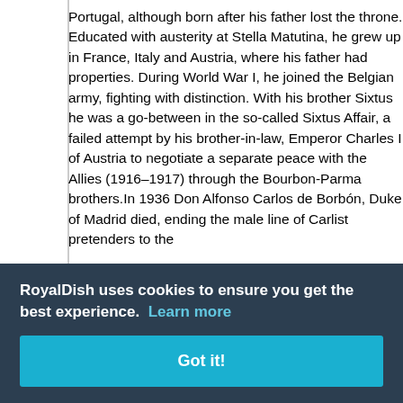Portugal, although born after his father lost the throne. Educated with austerity at Stella Matutina, he grew up in France, Italy and Austria, where his father had properties. During World War I, he joined the Belgian army, fighting with distinction. With his brother Sixtus he was a go-between in the so-called Sixtus Affair, a failed attempt by his brother-in-law, Emperor Charles I of Austria to negotiate a separate peace with the Allies (1916–1917) through the Bourbon-Parma brothers.In 1936 Don Alfonso Carlos de Borbón, Duke of Madrid died, ending the male line of Carlist pretenders to the
n Infante g no s Neves to of the nd Master macy. On eau de adeleine de Bourbon-Busset (23 March 1898 – 1 September 1941). They had no...
RoyalDish uses cookies to ensure you get the best experience. Learn more
Got it!